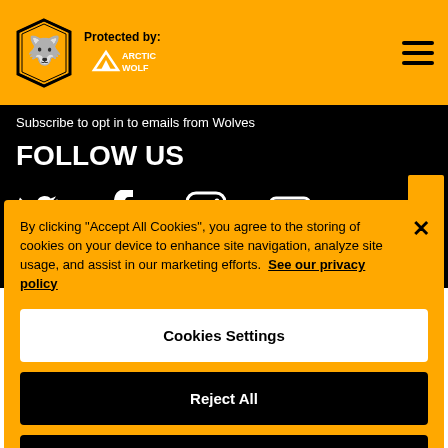[Figure (logo): Wolverhampton Wanderers wolves crest logo in yellow and black, with Arctic Wolf partnership logo and 'Protected by:' text in the yellow header bar]
Subscribe to opt in to emails from Wolves
FOLLOW US
[Figure (illustration): Social media icons: Twitter bird, Facebook f, Instagram camera, YouTube play button — white icons on black background]
By clicking "Accept All Cookies", you agree to the storing of cookies on your device to enhance site navigation, analyze site usage, and assist in our marketing efforts. See our privacy policy
Cookies Settings
Reject All
Accept All Cookies